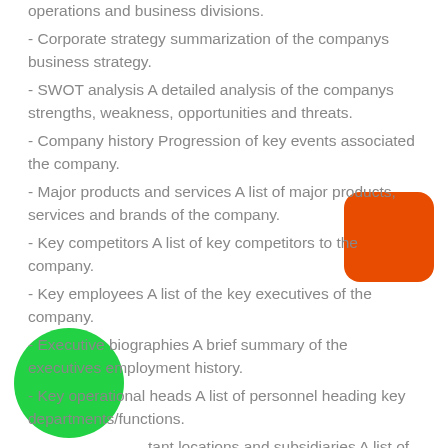operations and business divisions.
- Corporate strategy summarization of the companys business strategy.
- SWOT analysis A detailed analysis of the companys strengths, weakness, opportunities and threats.
- Company history Progression of key events associated the company.
- Major products and services A list of major products, services and brands of the company.
- Key competitors A list of key competitors to the company.
- Key employees A list of the key executives of the company.
- Executive biographies A brief summary of the executives employment history.
- Key operational heads A list of personnel heading key departments/functions.
- Important locations and subsidiaries A list of key locations and subsidiaries of the company, including contact details.
[Figure (illustration): Orange rounded rectangle shape in upper right area]
[Figure (illustration): Green circle shape in lower left area]